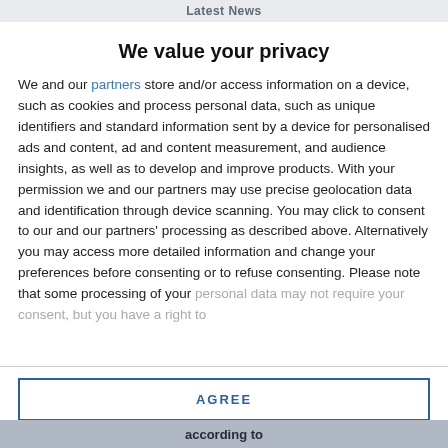Latest News
We value your privacy
We and our partners store and/or access information on a device, such as cookies and process personal data, such as unique identifiers and standard information sent by a device for personalised ads and content, ad and content measurement, and audience insights, as well as to develop and improve products. With your permission we and our partners may use precise geolocation data and identification through device scanning. You may click to consent to our and our partners' processing as described above. Alternatively you may access more detailed information and change your preferences before consenting or to refuse consenting. Please note that some processing of your personal data may not require your consent, but you have a right to
AGREE
MORE OPTIONS
according to